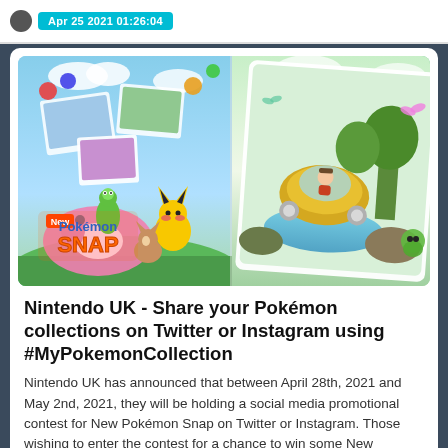Apr 25 2021 01:26:04
[Figure (photo): New Pokémon Snap game artwork showing colorful Pokémon characters including Pikachu, Eevee, and others in a vibrant nature scene on the left, and a boy riding a yellow NEO-ONE vehicle through a lush green landscape on the right. The New Pokémon Snap logo is displayed prominently.]
Nintendo UK - Share your Pokémon collections on Twitter or Instagram using #MyPokemonCollection
Nintendo UK has announced that between April 28th, 2021 and May 2nd, 2021, they will be holding a social media promotional contest for New Pokémon Snap on Twitter or Instagram. Those wishing to enter the contest for a chance to win some New Pokémon Snap goodies need to post